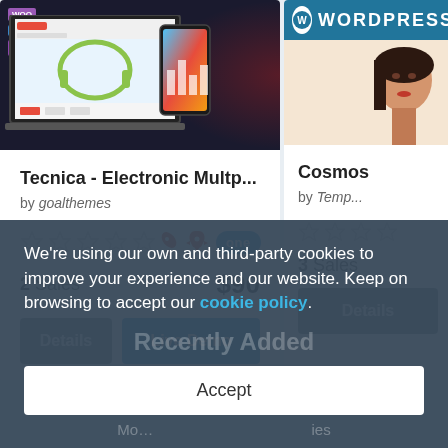[Figure (screenshot): E-commerce theme preview showing laptop with headphones website and phone mockup on dark background. WooCommerce logos visible.]
Tecnica - Electronic Multp...
by goalthemes
2 Sales   $90
[Figure (screenshot): WordPress theme preview showing beauty/cosmetics website with woman's face. WordPress logo banner visible.]
Cosmos
by Temp...
3 Sales
We're using our own and third-party cookies to improve your experience and our website. Keep on browsing to accept our cookie policy.
Recently Added
Accept
Mo...                                                                              ...ies